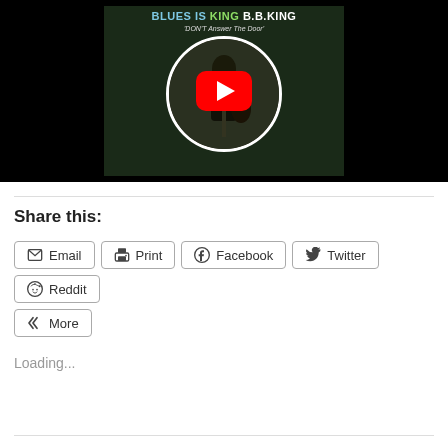[Figure (screenshot): YouTube video thumbnail showing B.B. King 'Blues is King' album cover with red YouTube play button overlay. Album shows text 'BLUES IS KING B.B.KING' and 'DON'T Answer The Door' with a circular frame showing a performer on stage.]
Share this:
Email
Print
Facebook
Twitter
Reddit
More
Loading...